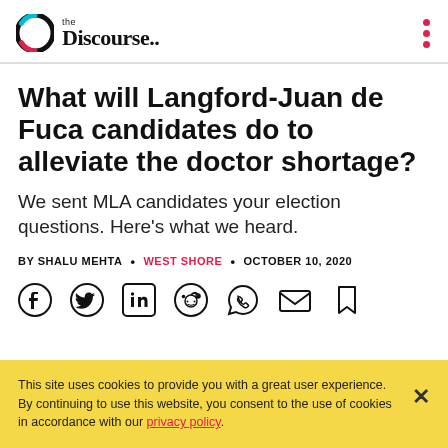the Discourse.
What will Langford-Juan de Fuca candidates do to alleviate the doctor shortage?
We sent MLA candidates your election questions. Here's what we heard.
BY SHALU MEHTA • WEST SHORE • OCTOBER 10, 2020
[Figure (infographic): Social sharing icons: Facebook, Twitter, LinkedIn, Reddit, WhatsApp, Email, Bookmark]
This site uses cookies to provide you with a great user experience. By continuing to use this website, you consent to the use of cookies in accordance with our privacy policy.